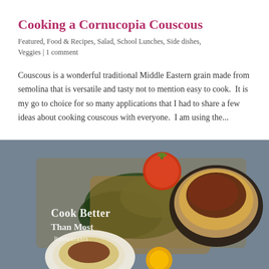Cooking a Cornucopia Couscous
Featured, Food & Recipes, Salad, School Lunches, Side dishes, Veggies | 1 comment
Couscous is a wonderful traditional Middle Eastern grain made from semolina that is versatile and tasty not to mention easy to cook.  It is my go to choice for so many applications that I had to share a few ideas about cooking couscous with everyone.  I am using the...
[Figure (photo): Food photography showing a bowl of pasta with meat sauce, spinach leaves, a tomato, and a plate of food on a wooden board. Overlay text reads 'Cook Better Than Most Restaurants'.]